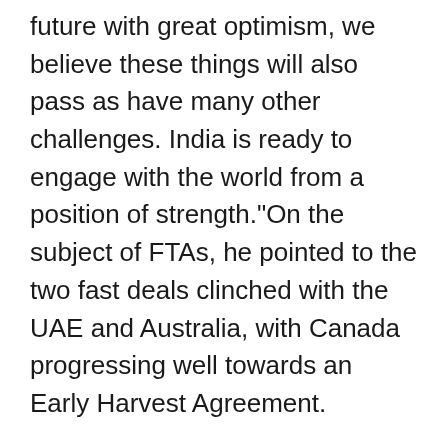future with great optimism, we believe these things will also pass as have many other challenges. India is ready to engage with the world from a position of strength."On the subject of FTAs, he pointed to the two fast deals clinched with the UAE and Australia, with Canada progressing well towards an Early Harvest Agreement.
The minister added, "With the UK, we had agreed to do an Early Harvest Agreement - basically, to grab the low-hanging fruits and leave the more difficult elements for the next stage and give the people of both countries the confidence that this